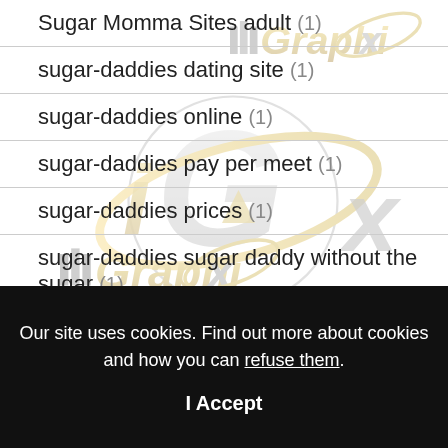Sugar Momma Sites adult (1)
sugar-daddies dating site (1)
sugar-daddies online (1)
sugar-daddies pay per meet (1)
sugar-daddies prices (1)
sugar-daddies sugar daddy without the sugar (1)
[Figure (logo): illGraphix watermark logo with metallic gold and silver text and orbital ring design, repeated/overlapping across the content area]
Our site uses cookies. Find out more about cookies and how you can refuse them.
I Accept